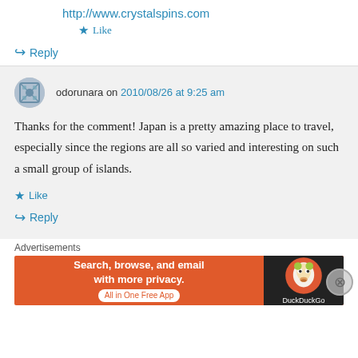http://www.crystalspins.com
★ Like
↪ Reply
odorunara on 2010/08/26 at 9:25 am
Thanks for the comment! Japan is a pretty amazing place to travel, especially since the regions are all so varied and interesting on such a small group of islands.
★ Like
↪ Reply
Advertisements
[Figure (screenshot): DuckDuckGo advertisement banner: orange background with text 'Search, browse, and email with more privacy. All in One Free App' and DuckDuckGo duck logo on dark background]